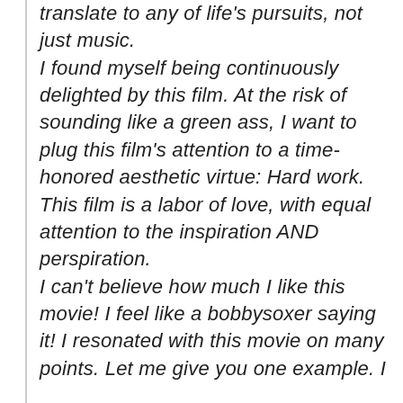translate to any of life's pursuits, not just music. I found myself being continuously delighted by this film. At the risk of sounding like a green ass, I want to plug this film's attention to a time-honored aesthetic virtue: Hard work. This film is a labor of love, with equal attention to the inspiration AND perspiration. I can't believe how much I like this movie! I feel like a bobbysoxer saying it! I resonated with this movie on many points. Let me give you one example. I